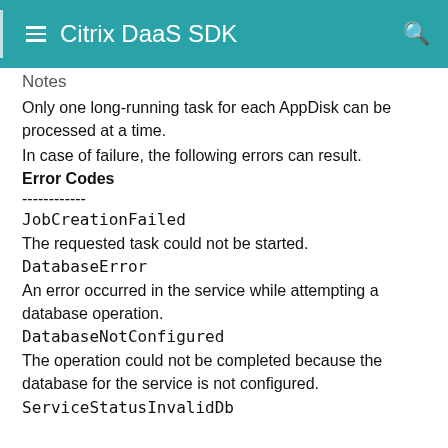Citrix DaaS SDK
Notes
Only one long-running task for each AppDisk can be processed at a time.
In case of failure, the following errors can result.
Error Codes
------------
JobCreationFailed
The requested task could not be started.
DatabaseError
An error occurred in the service while attempting a database operation.
DatabaseNotConfigured
The operation could not be completed because the database for the service is not configured.
ServiceStatusInvalidDb